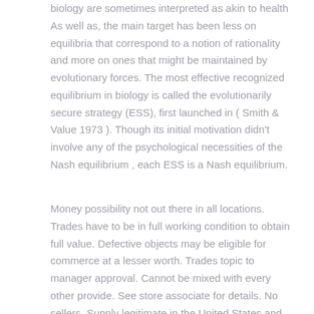biology are sometimes interpreted as akin to health As well as, the main target has been less on equilibria that correspond to a notion of rationality and more on ones that might be maintained by evolutionary forces. The most effective recognized equilibrium in biology is called the evolutionarily secure strategy (ESS), first launched in ( Smith & Value 1973 ). Though its initial motivation didn't involve any of the psychological necessities of the Nash equilibrium , each ESS is a Nash equilibrium.
Money possibility not out there in all locations. Trades have to be in full working condition to obtain full value. Defective objects may be eligible for commerce at a lesser worth. Trades topic to manager approval. Cannot be mixed with every other provide. See store associate for details. No sellers. Supply legitimate in the United States and Guam solely. Void where prohibited. GameStop, Inc. reserves the right to cancel, terminate, modify or droop